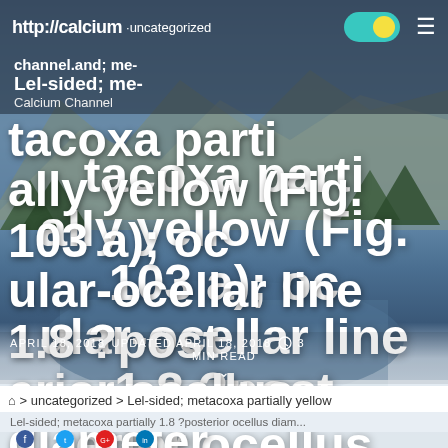http://calcium channel.and; Lel-sided; me- | uncategorized | Calcium Channel
Lel-sided; metacoxa partially yellow (Fig. 103 a); ocular-ocellar line 1.8 ?posterior ocellus diameter.
APRIL 18, 2018   UPDATED APRIL 18, 2018   3 MIN READ
⌂  >  uncategorized  >  Lel-sided; metacoxa partially yellow